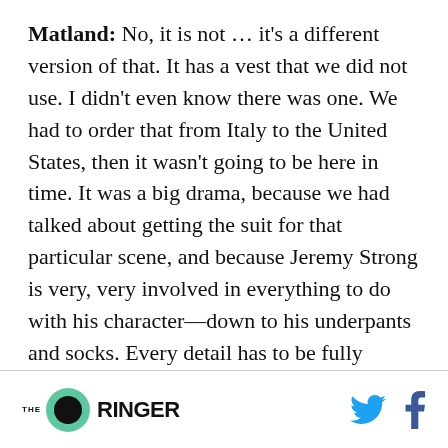Matland: No, it is not … it's a different version of that. It has a vest that we did not use. I didn't even know there was one. We had to order that from Italy to the United States, then it wasn't going to be here in time. It was a big drama, because we had talked about getting the suit for that particular scene, and because Jeremy Strong is very, very involved in everything to do with his character—down to his underpants and socks. Every detail has to be fully Kendall. And getting that suit was the biggest drama, and it showed up finally, in
[Figure (logo): The Ringer logo — green circle with black inner circle, 'THE' in small caps, 'RINGER' in large bold sans-serif]